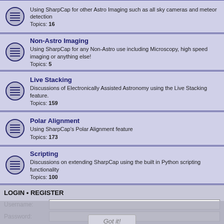Using SharpCap for other Astro Imaging such as all sky cameras and meteor detection. Topics: 16
Non-Astro Imaging. Using SharpCap for any Non-Astro use including Microscopy, high speed imaging or anything else! Topics: 5
Live Stacking. Discussions of Electronically Assisted Astronomy using the Live Stacking feature. Topics: 159
Polar Alignment. Using SharpCap's Polar Alignment feature. Topics: 173
Scripting. Discussions on extending SharpCap using the built in Python scripting functionality. Topics: 100
The Sequencer and Sequence Planner. Questions, tips, information and discussions about using the SharpCap Sequencer and Sequence Planner tools. Topics: 22
LOGIN • REGISTER
Username:
Password: